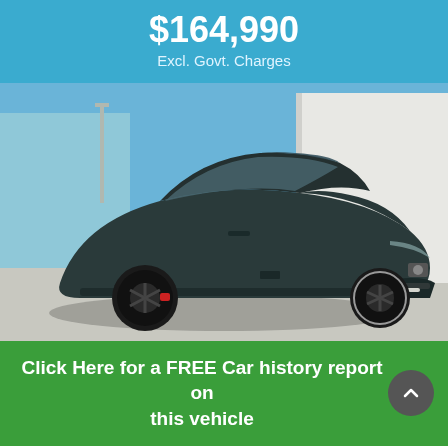$164,990
Excl. Govt. Charges
[Figure (photo): Dark teal/green Nissan GT-R sports car photographed from a front three-quarter angle in a car yard, with a blue sky and white building in the background.]
Click Here for a FREE Car history report on this vehicle
Black